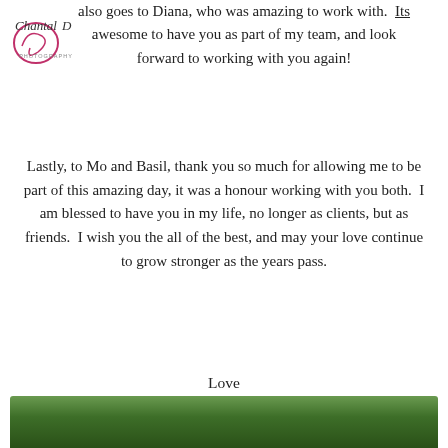[Figure (logo): Chantal D Photography logo — cursive text with decorative swirl]
also goes to Diana, who was amazing to work with.  Its awesome to have you as part of my team, and look forward to working with you again!
Lastly, to Mo and Basil, thank you so much for allowing me to be part of this amazing day, it was a honour working with you both.  I am blessed to have you in my life, no longer as clients, but as friends.  I wish you the all of the best, and may your love continue to grow stronger as the years pass.
Love
Chantal
XXX
[Figure (photo): Green foliage/nature photo strip at bottom of page]